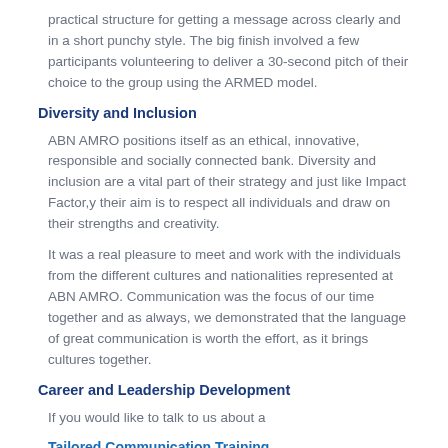practical structure for getting a message across clearly and in a short punchy style. The big finish involved a few participants volunteering to deliver a 30-second pitch of their choice to the group using the ARMED model.
Diversity and Inclusion
ABN AMRO positions itself as an ethical, innovative, responsible and socially connected bank. Diversity and inclusion are a vital part of their strategy and just like Impact Factor,y their aim is to respect all individuals and draw on their strengths and creativity.
It was a real pleasure to meet and work with the individuals from the different cultures and nationalities represented at ABN AMRO. Communication was the focus of our time together and as always, we demonstrated that the language of great communication is worth the effort, as it brings cultures together.
Career and Leadership Development
If you would like to talk to us about a
Tailored Communication Training